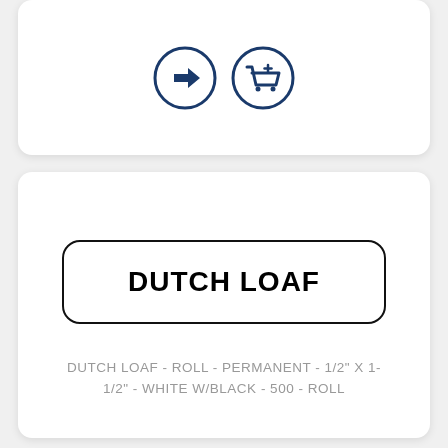[Figure (illustration): Two circular icon buttons with dark blue outlines: a right-arrow icon and a shopping cart with plus icon]
[Figure (illustration): A white rectangular label with rounded corners and black border, displaying the text DUTCH LOAF in bold black uppercase letters]
DUTCH LOAF - ROLL - PERMANENT - 1/2" X 1-1/2" - WHITE W/BLACK - 500 - ROLL